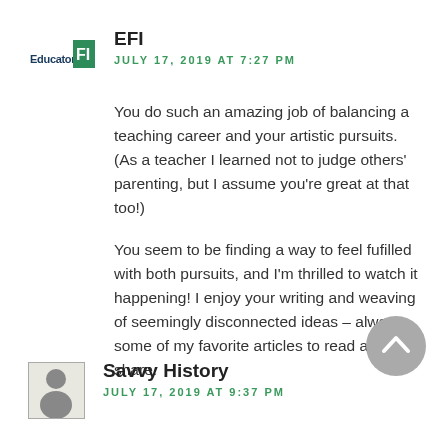[Figure (logo): EducatorFI logo — a small rectangular logo showing 'Educator' and 'FI' with teal/green accent]
EFI
JULY 17, 2019 AT 7:27 PM
You do such an amazing job of balancing a teaching career and your artistic pursuits. (As a teacher I learned not to judge others' parenting, but I assume you're great at that too!)
You seem to be finding a way to feel fufilled with both pursuits, and I'm thrilled to watch it happening! I enjoy your writing and weaving of seemingly disconnected ideas – always some of my favorite articles to read and share.
[Figure (photo): Small black and white portrait photo of Savvy History commenter avatar]
Savvy History
JULY 17, 2019 AT 9:37 PM